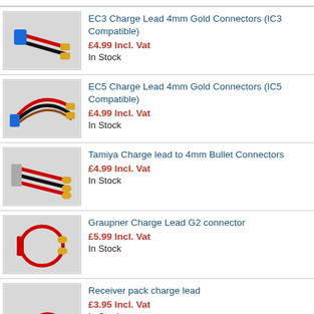EC3 Charge Lead 4mm Gold Connectors (IC3 Compatible)
£4.99 Incl. Vat
In Stock
EC5 Charge Lead 4mm Gold Connectors (IC5 Compatible)
£4.99 Incl. Vat
In Stock
Tamiya Charge lead to 4mm Bullet Connectors
£4.99 Incl. Vat
In Stock
Graupner Charge Lead G2 connector
£5.99 Incl. Vat
In Stock
Receiver pack charge lead
£3.95 Incl. Vat
In Stock